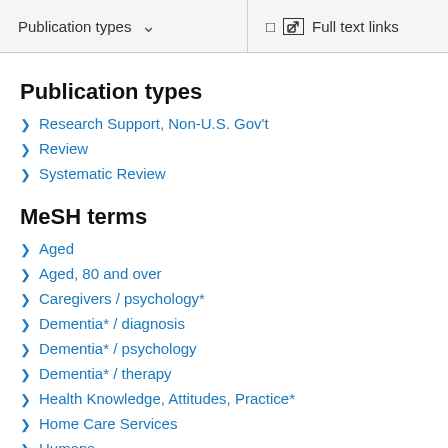Publication types   Full text links
Publication types
Research Support, Non-U.S. Gov't
Review
Systematic Review
MeSH terms
Aged
Aged, 80 and over
Caregivers / psychology*
Dementia* / diagnosis
Dementia* / psychology
Dementia* / therapy
Health Knowledge, Attitudes, Practice*
Home Care Services
Humans
Patients / psychology*